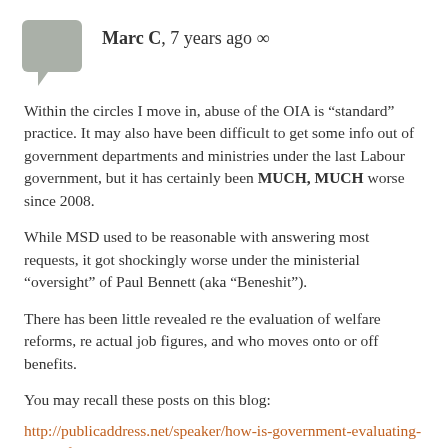Marc C, 7 years ago
Within the circles I move in, abuse of the OIA is “standard” practice. It may also have been difficult to get some info out of government departments and ministries under the last Labour government, but it has certainly been MUCH, MUCH worse since 2008.
While MSD used to be reasonable with answering most requests, it got shockingly worse under the ministerial “oversight” of Paul Bennett (aka “Beneshit”).
There has been little revealed re the evaluation of welfare reforms, re actual job figures, and who moves onto or off benefits.
You may recall these posts on this blog:
http://publicaddress.net/speaker/how-is-government-evaluating-its-welfare/
http://publicaddress.net/speaker/1600-